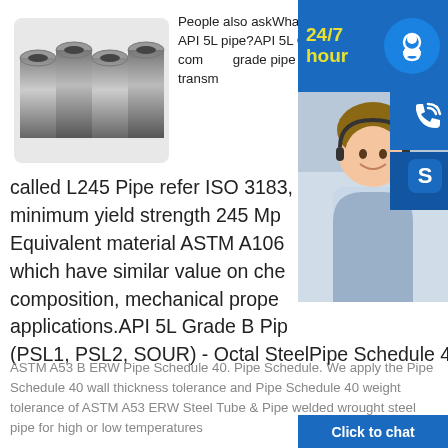[Figure (photo): Bundle of steel pipes stacked together]
People also askWhat is API 5L pipe?What is API 5L pipe?API 5L Grade B pipe is a common grade pipe for pipeline transmission, called L245 Pipe refer ISO 3183, minimum yield strength 245 Mpa. Equivalent material ASTM A106 which have similar value on chemical composition, mechanical properties, applications.API 5L Grade B Pipe (PSL1, PSL2, SOUR) - Octal SteelPipe Schedule 40 A53 B ERW Steel - HYSP Steel Pipe
[Figure (photo): Customer service agent (woman with headset smiling) with 24/7 hour support overlay, phone icon, Skype icon, and Click to chat button]
ASTM A53 B ERW Pipe Schedule 40. Pipe Schedule. We apply the Pipe Schedule 40 wall thickness tolerance and Pipe Schedule 40 weight tolerance of ASTM A53 ERW Steel Tube & Pipe welded wrought steel pipe for high or low temperatures